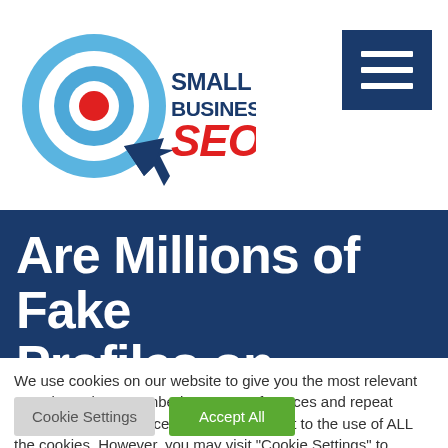[Figure (logo): Small Business SEO logo with target/bullseye icon and cursor arrow, text SMALL BUSINESS in dark blue bold, SEO in red italic bold]
[Figure (other): Dark blue hamburger menu button with three white horizontal lines]
Are Millions of Fake Profiles on Google
We use cookies on our website to give you the most relevant experience by remembering your preferences and repeat visits. By clicking “Accept All”, you consent to the use of ALL the cookies. However, you may visit "Cookie Settings" to provide a controlled consent.
Cookie Settings
Accept All